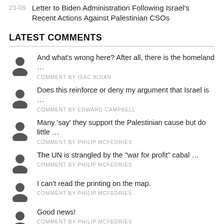23-08 Letter to Biden Administration Following Israel's Recent Actions Against Palestinian CSOs
LATEST COMMENTS
And what's wrong here? After all, there is the homeland …
COMMENT BY ISAC BOIAN
Does this reinforce or deny my argument that Israel is …
COMMENT BY EDWARD CAMPBELL
Many 'say' they support the Palestinian cause but do little …
COMMENT BY PHILIP MCFEDRIES
The UN is strangled by the "war for profit" cabal …
COMMENT BY PHILIP MCFEDRIES
I can't read the printing on the map.
COMMENT BY PHILIP MCFEDRIES
Good news!
COMMENT BY PHILIP MCFEDRIES